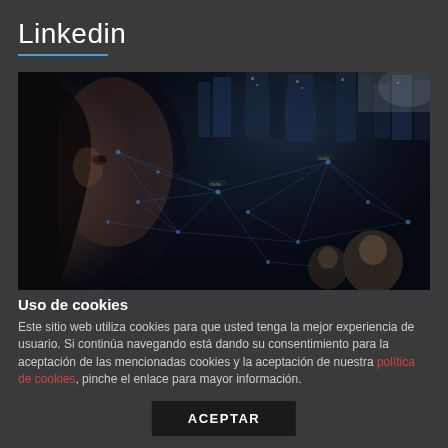Linkedin
[Figure (photo): Digital composite image of a human face in profile overlaid with a glowing network of connections and a nighttime city skyline, with additional faces visible in the lower right portion of the image.]
Uso de cookies
Este sitio web utiliza cookies para que usted tenga la mejor experiencia de usuario. Si continúa navegando está dando su consentimiento para la aceptación de las mencionadas cookies y la aceptación de nuestra política de cookies, pinche el enlace para mayor información.
ACEPTAR